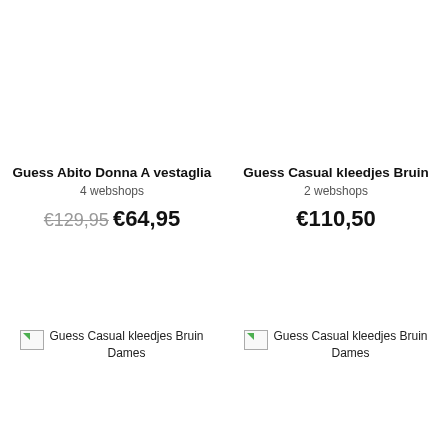Guess Abito Donna A vestaglia
4 webshops
€129,95  €64,95
Guess Casual kleedjes Bruin
2 webshops
€110,50
[Figure (photo): Broken image placeholder for Guess Casual kleedjes Bruin Dames (left)]
[Figure (photo): Broken image placeholder for Guess Casual kleedjes Bruin Dames (right)]